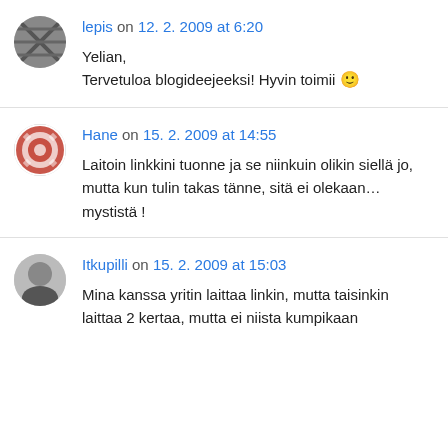lepis on 12. 2. 2009 at 6:20
Yelian,
Tervetuloa blogideejeeksi! Hyvin toimii 🙂
Hane on 15. 2. 2009 at 14:55
Laitoin linkkini tuonne ja se niinkuin olikin siellä jo, mutta kun tulin takas tänne, sitä ei olekaan… mystistä !
Itkupilli on 15. 2. 2009 at 15:03
Mina kanssa yritin laittaa linkin, mutta taisinkin laittaa 2 kertaa, mutta ei niista kumpikaan